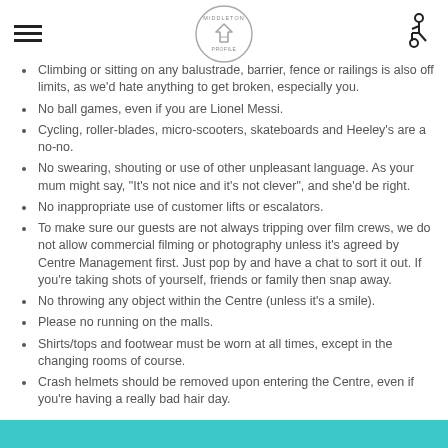[Figure (logo): Middleton shopping centre circular logo with hamburger menu icon on the left and wheelchair accessibility icon on the right]
Climbing or sitting on any balustrade, barrier, fence or railings is also off limits, as we'd hate anything to get broken, especially you.
No ball games, even if you are Lionel Messi.
Cycling, roller-blades, micro-scooters, skateboards and Heeley's are a no-no.
No swearing, shouting or use of other unpleasant language. As your mum might say, "It's not nice and it's not clever", and she'd be right.
No inappropriate use of customer lifts or escalators.
To make sure our guests are not always tripping over film crews, we do not allow commercial filming or photography unless it's agreed by Centre Management first. Just pop by and have a chat to sort it out. If you're taking shots of yourself, friends or family then snap away.
No throwing any object within the Centre (unless it's a smile).
Please no running on the malls.
Shirts/tops and footwear must be worn at all times, except in the changing rooms of course.
Crash helmets should be removed upon entering the Centre, even if you're having a really bad hair day.